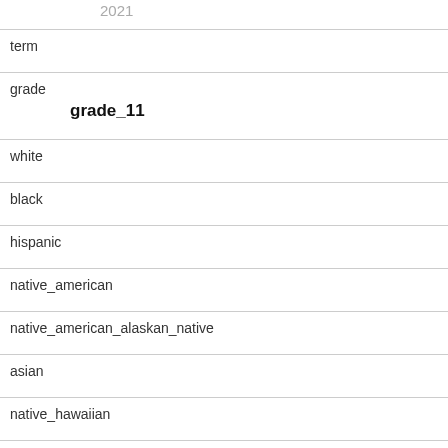| 2021 |
| term |
| grade
grade_11 |
| white |
| black |
| hispanic |
| native_american |
| native_american_alaskan_native |
| asian |
| native_hawaiian |
| asian_pacific_islander |